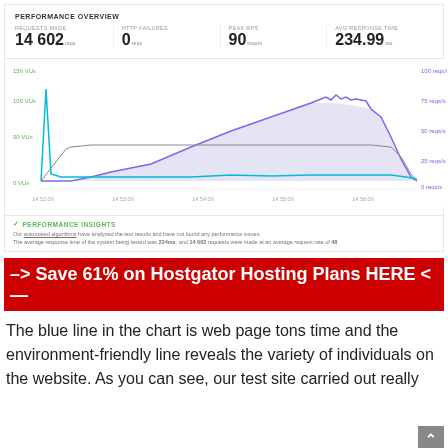PERFORMANCE OVERVIEW
| REQUESTS MADE | HTTP FAILURES | PEAK RPS | AVG RESPONSE TIME |
| --- | --- | --- | --- |
| 14 602 reqs | 0 reqs | 90 reqs/s | 234.99 ms |
[Figure (area-chart): Area chart showing VUs (left axis, green) and requests/s (right axis, blue/purple) over time from ~14:52:00 to 14:56:00. A teal line spikes early then stays low. A purple line with shaded area rises to a peak around 100 req/s then falls. Green labels on left: 150 VUs, 100 VUs, 50 VUs, 0 VUs.]
PERFORMANCE INSIGHTS
Our automated algorithms have analyzed the test results and have not found any performance issues.
The average response time of the system being tested was 234ms, and 14 602 requests were made at an average request rate of 48
–> Save 61% on Hostgator Hosting Plans HERE <—
The blue line in the chart is web page tons time and the environment-friendly line reveals the variety of individuals on the website. As you can see, our test site carried out really